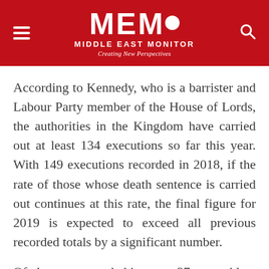MEMO MIDDLE EAST MONITOR — Creating New Perspectives
According to Kennedy, who is a barrister and Labour Party member of the House of Lords, the authorities in the Kingdom have carried out at least 134 executions so far this year. With 149 executions recorded in 2018, if the rate of those whose death sentence is carried out continues at this rate, the final figure for 2019 is expected to exceed all previous recorded totals by a significant number.
Of those executed this year, 37 are said to have been political activists killed on 23 April following lengthy periods of detention in